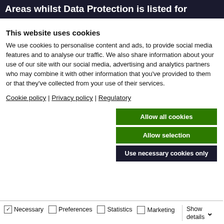Areas whilst Data Protection is listed for
This website uses cookies
We use cookies to personalise content and ads, to provide social media features and to analyse our traffic. We also share information about your use of our site with our social media, advertising and analytics partners who may combine it with other information that you've provided to them or that they've collected from your use of their services.
Cookie policy | Privacy policy | Regulatory
Allow all cookies | Allow selection | Use necessary cookies only
Necessary  Preferences  Statistics  Marketing  Show details